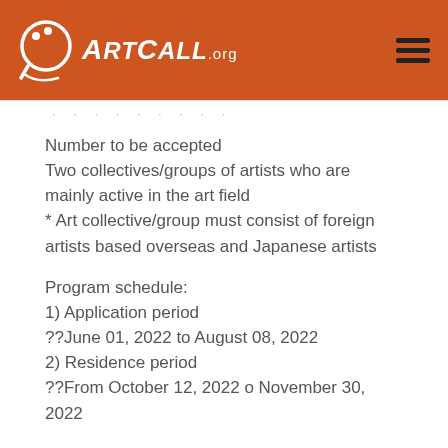ArtCall.org
Number to be accepted
Two collectives/groups of artists who are mainly active in the art field
* Art collective/group must consist of foreign artists based overseas and Japanese artists
Program schedule:
1) Application period
??June 01, 2022 to August 08, 2022
2) Residence period
??From October 12, 2022 o November 30, 2022
Eligibility: